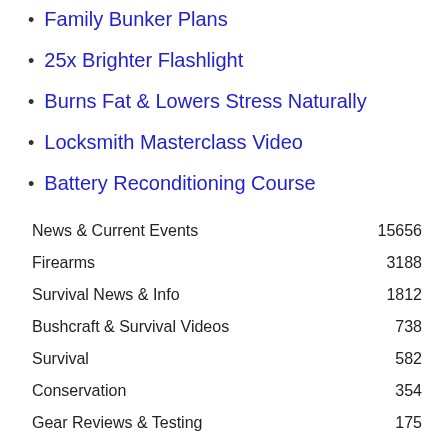Family Bunker Plans
25x Brighter Flashlight
Burns Fat & Lowers Stress Naturally
Locksmith Masterclass Video
Battery Reconditioning Course
| Category | Count |
| --- | --- |
| News & Current Events | 15656 |
| Firearms | 3188 |
| Survival News & Info | 1812 |
| Bushcraft & Survival Videos | 738 |
| Survival | 582 |
| Conservation | 354 |
| Gear Reviews & Testing | 175 |